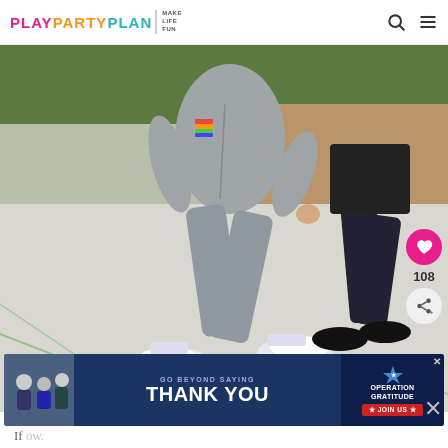PLAY PARTY PLAN | MAKE LIFE FUN
[Figure (photo): Child playing a game, wearing grey athletic clothes and white sneakers, wide stance on a concrete surface with green court lines. Another person in dark pants visible in background.]
[Figure (infographic): Advertisement banner: 'GO BEYOND SAYING THANK YOU - OPERATION GRATITUDE - JOIN US']
If ow.